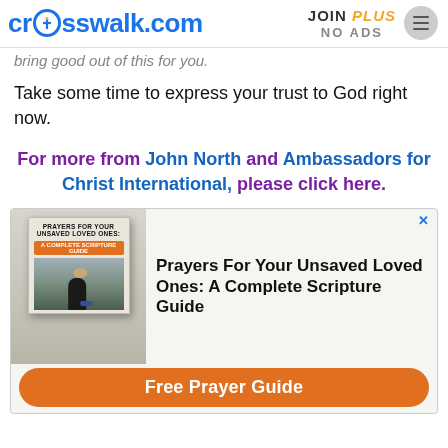crosswalk.com | JOIN PLUS NO ADS
bring good out of this for you.
Take some time to express your trust to God right now.
For more from John North and Ambassadors for Christ International, please click here.
[Figure (infographic): Advertisement for 'Prayers For Your Unsaved Loved Ones: A Complete Scripture Guide' with a book cover image and a Free Prayer Guide orange button.]